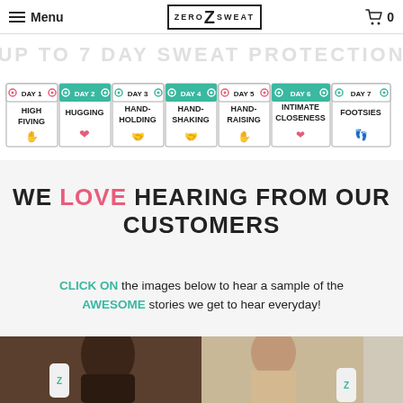Menu | ZERO Z SWEAT | 0
[Figure (infographic): 7-day calendar strip showing: Day 1 High Fiving, Day 2 Hugging, Day 3 Hand-Holding, Day 4 Hand-Shaking, Day 5 Hand-Raising, Day 6 Intimate Closeness, Day 7 Footsies. Each day has a colored header (alternating pink/teal) and an icon.]
WE LOVE HEARING FROM OUR CUSTOMERS
CLICK ON the images below to hear a sample of the AWESOME stories we get to hear everyday!
[Figure (photo): Two customer photos side by side: left photo shows a woman with dark hair holding a Zero Sweat product; right photo shows a woman smiling holding a Zero Sweat product.]